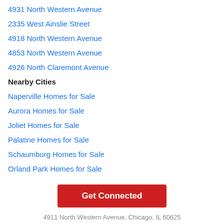4931 North Western Avenue
2335 West Ainslie Street
4918 North Western Avenue
4853 North Western Avenue
4926 North Claremont Avenue
Nearby Cities
Naperville Homes for Sale
Aurora Homes for Sale
Joliet Homes for Sale
Palatine Homes for Sale
Schaumburg Homes for Sale
Orland Park Homes for Sale
Plainfield Homes for Sale
Get Connected
4911 North Western Avenue, Chicago, IL 60625